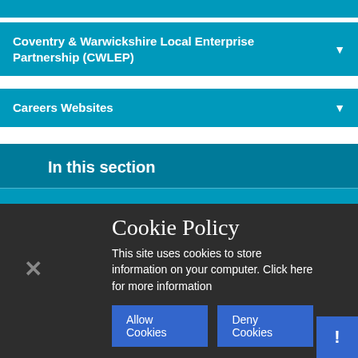Coventry & Warwickshire Local Enterprise Partnership (CWLEP)
Careers Websites
In this section
Who We Are
Cookie Policy
This site uses cookies to store information on your computer. Click here for more information
Allow Cookies
Deny Cookies